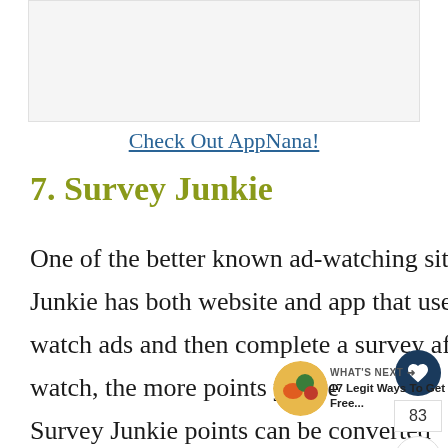[Figure (other): Gray placeholder image area at top of page]
Check Out AppNana!
7. Survey Junkie
One of the better known ad-watching sites is Survey Junkie. Survey Junkie has both website and app that users can take advantage of. Users watch ads and then complete a survey afterward. The more ads you watch, the more points you re... Survey Junkie points can be converted